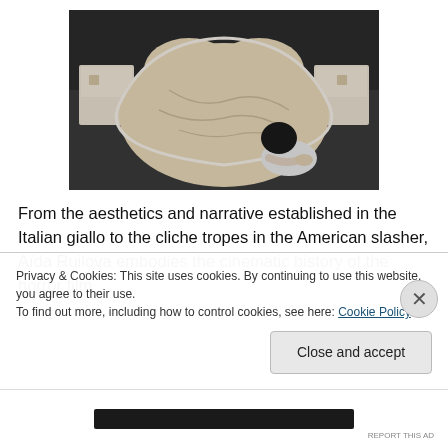[Figure (photo): Overhead shot of a heart-shaped bed with cream/beige bedding in a dimly lit room. A person in a white top with dark hair is visible in the lower right, leaning over the bed. White nightstands are on either side.]
From the aesthetics and narrative established in the Italian giallo to the cliche tropes in the American slasher, Aïda Ruilova embodies the cinematic history of the horror film
Privacy & Cookies: This site uses cookies. By continuing to use this website, you agree to their use.
To find out more, including how to control cookies, see here: Cookie Policy
Close and accept